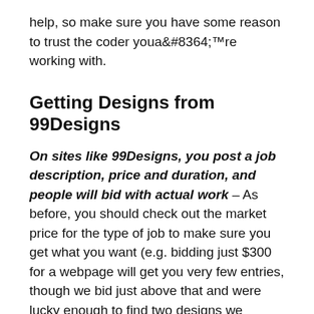help, so make sure you have some reason to trust the coder youâ€™re working with.
Getting Designs from 99Designs
On sites like 99Designs, you post a job description, price and duration, and people will bid with actual work – As before, you should check out the market price for the type of job to make sure you get what you want (e.g. bidding just $300 for a webpage will get you very few entries, though we bid just above that and were lucky enough to find two designs we loved).
You have to put up your money and fees ahead of time, but if you donâ€™t like any of your options, you get your money back…of course, you have to ask a few times as customer service tries to give you various discounts and extensions, but in our experience, you get your refund